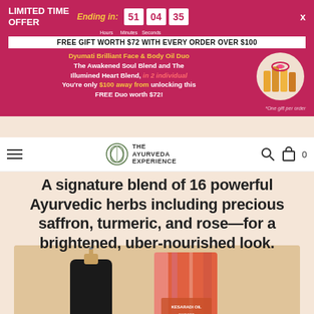LIMITED TIME OFFER — Ending in: 51 Hours 04 Minutes 35 Seconds — X
FREE GIFT WORTH $72 WITH EVERY ORDER OVER $100
Dyumati Brilliant Face & Body Oil Duo
The Awakened Soul Blend and The Illumined Heart Blend, in 2 individual
You're only $100 away from unlocking this FREE Duo worth $72!
*One gift per order
[Figure (photo): Gift set of face/body oil bottles with ribbon bow]
[Figure (logo): The Ayurveda Experience logo with leaf icon]
A signature blend of 16 powerful Ayurvedic herbs including precious saffron, turmeric, and rose—for a brightened, uber-nourished look.
[Figure (photo): Kesaradi Oil product: dark dropper bottle and orange-pink patterned box on warm beige background]